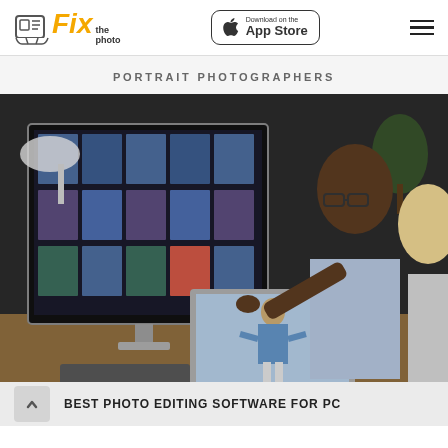Fix the photo — Download on the App Store
PORTRAIT PHOTOGRAPHERS
[Figure (photo): Two photographers reviewing portrait photos on a large monitor and laptop. The monitor shows a grid of portrait session thumbnails. A man with glasses points at the laptop screen showing a fashion portrait.]
BEST PHOTO EDITING SOFTWARE FOR PC